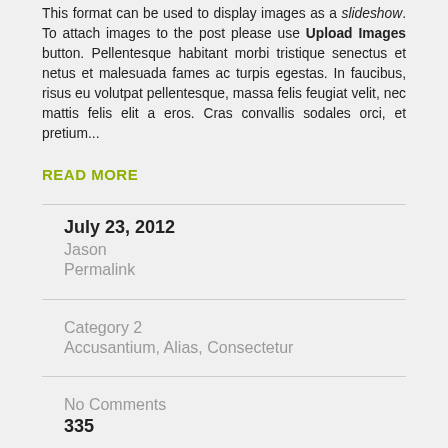This format can be used to display images as a slideshow. To attach images to the post please use Upload Images button. Pellentesque habitant morbi tristique senectus et netus et malesuada fames ac turpis egestas. In faucibus, risus eu volutpat pellentesque, massa felis feugiat velit, nec mattis felis elit a eros. Cras convallis sodales orci, et pretium...
READ MORE
July 23, 2012
Jason
Permalink
Category 2
Accusantium, Alias, Consectetur
No Comments
335